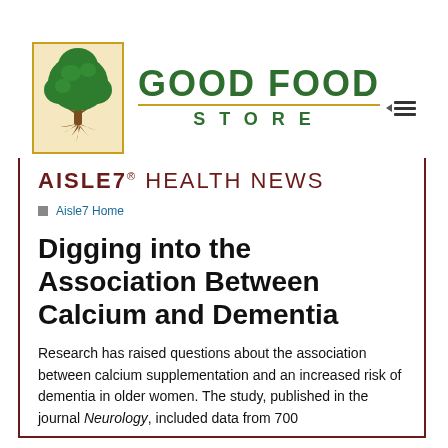[Figure (logo): Good Food Store logo with tree illustration in yellow-bordered box and green store name text]
AISLE7® HEALTH NEWS
Aisle7 Home
Digging into the Association Between Calcium and Dementia
Research has raised questions about the association between calcium supplementation and an increased risk of dementia in older women. The study, published in the journal Neurology, included data from 700